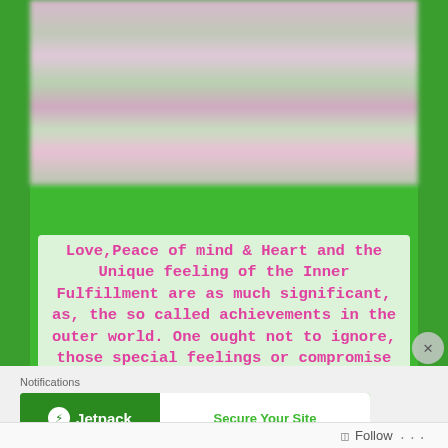[Figure (photo): Blurred/pixelated image at top of page, pinkish and greenish tones, appears to be a decorative or profile banner image]
Love,Peace of mind & Heart and the Unique feeling of the Inner Fulfillment are as much significant, as, the so called achievements in the outer world. One ought not to ignore, those special feelings or compromise them!! They make the person actually unique. One must not ignore his true
Notifications
[Figure (screenshot): Jetpack advertisement banner: green background with Jetpack logo on left and 'Secure Your Site' call to action on white right panel]
Follow ...